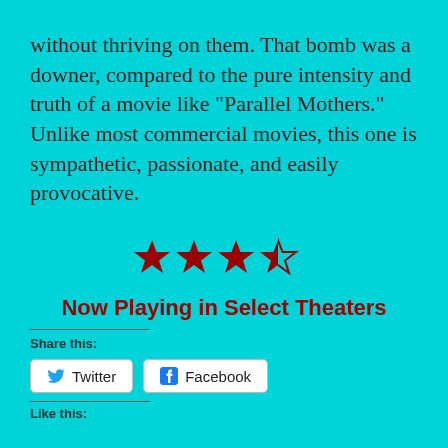without thriving on them. That bomb was a downer, compared to the pure intensity and truth of a movie like “Parallel Mothers.” Unlike most commercial movies, this one is sympathetic, passionate, and easily provocative.
[Figure (other): Four stars rating: three full red stars and one half red star]
Now Playing in Select Theaters
Share this:
Twitter   Facebook
Like this: